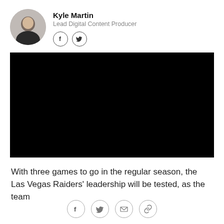[Figure (photo): Circular headshot photo of Kyle Martin]
Kyle Martin
Lead Digital Content Producer
[Figure (other): Social media icons: Facebook and Twitter circles in author block]
[Figure (photo): Large black video thumbnail/placeholder]
With three games to go in the regular season, the Las Vegas Raiders' leadership will be tested, as the team
[Figure (other): Bottom social share icons: Facebook, Twitter, email, link]